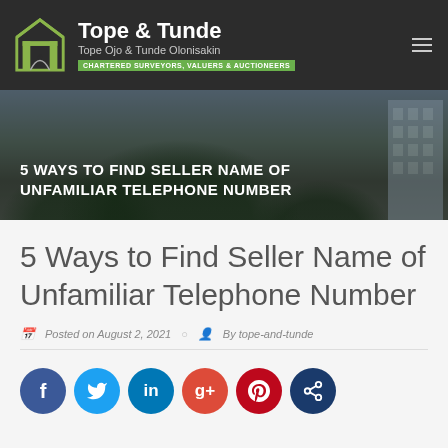[Figure (logo): Tope & Tunde logo with house icon and green tagline bar reading CHARTERED SURVEYORS, VALUERS & AUCTIONEERS]
[Figure (photo): Hero banner with trees and buildings in background, dark overlay]
5 WAYS TO FIND SELLER NAME OF UNFAMILIAR TELEPHONE NUMBER
5 Ways to Find Seller Name of Unfamiliar Telephone Number
Posted on August 2, 2021   By tope-and-tunde
[Figure (infographic): Social sharing buttons row: Facebook, Twitter, LinkedIn, Google+, Pinterest, Share]